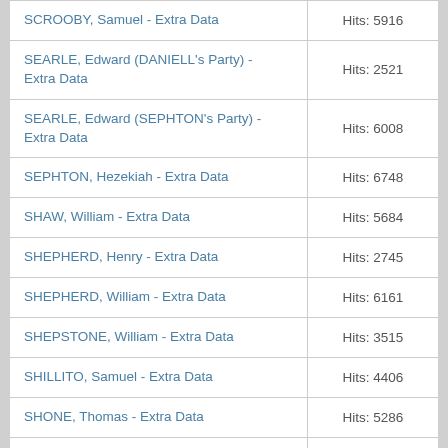| Name | Hits |
| --- | --- |
| SCROOBY, Samuel - Extra Data | Hits: 5916 |
| SEARLE, Edward (DANIELL's Party) - Extra Data | Hits: 2521 |
| SEARLE, Edward (SEPHTON's Party) - Extra Data | Hits: 6008 |
| SEPHTON, Hezekiah - Extra Data | Hits: 6748 |
| SHAW, William - Extra Data | Hits: 5684 |
| SHEPHERD, Henry - Extra Data | Hits: 2745 |
| SHEPHERD, William - Extra Data | Hits: 6161 |
| SHEPSTONE, William - Extra Data | Hits: 3515 |
| SHILLITO, Samuel - Extra Data | Hits: 4406 |
| SHONE, Thomas - Extra Data | Hits: 5286 |
| SHORT, Joseph - Extra Data | Hits: 4583 |